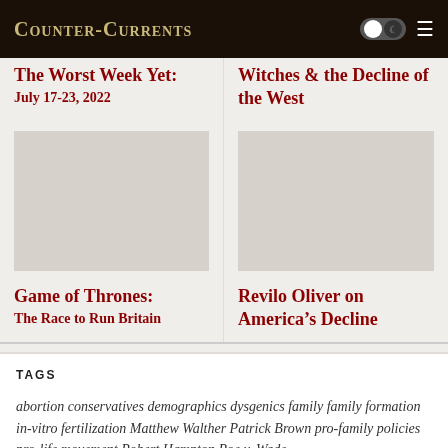Counter-Currents
The Worst Week Yet: July 17-23, 2022
Witches & the Decline of the West
[Figure (photo): Placeholder image for Game of Thrones article]
[Figure (photo): Placeholder image for Revilo Oliver article]
Game of Thrones: The Race to Run Britain
Revilo Oliver on America's Decline
TAGS
abortion conservatives demographics dysgenics family family formation in-vitro fertilization Matthew Walther Patrick Brown pro-family policies pro-life movement Robert Hampton Roe v. Wade